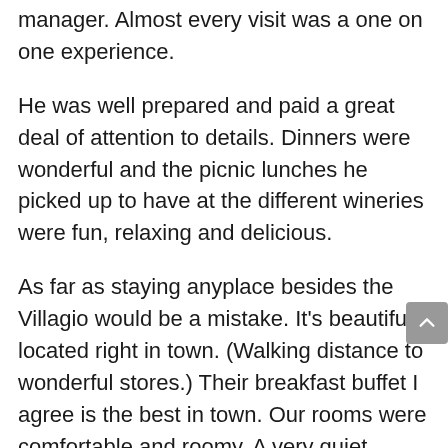manager. Almost every visit was a one on one experience.
He was well prepared and paid a great deal of attention to details. Dinners were wonderful and the picnic lunches he picked up to have at the different wineries were fun, relaxing and delicious.
As far as staying anyplace besides the Villagio would be a mistake. It’s beautifully located right in town. (Walking distance to wonderful stores.) Their breakfast buffet I agree is the best in town. Our rooms were comfortable and roomy. A very quiet facility to relax in.